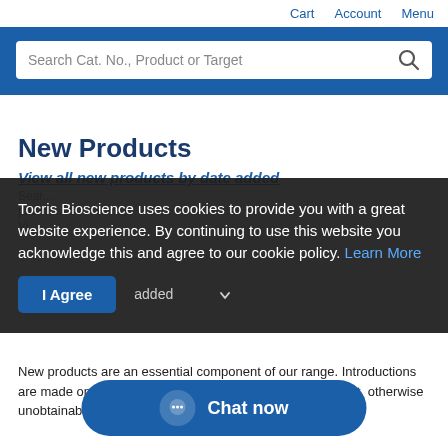Cart   Account   Menu
Search Cat. No., Product or Target
New Products
View all new products by date added
Tocris Bioscience uses cookies to provide you with a great website experience. By continuing to use this website you acknowledge this and agree to our cookie policy. Learn More
I Agree
added
New products are an essential component of our range. Introductions are made on small molecules and peptides to find the latest, otherwise unobtainable research tools and h...
Chat now